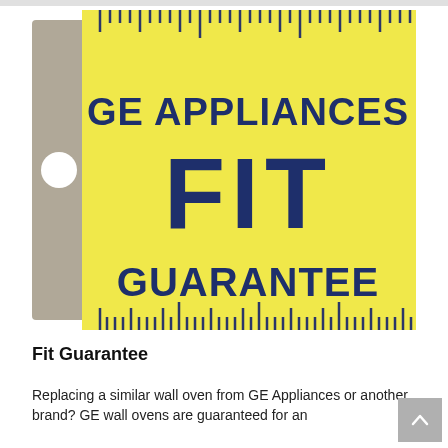[Figure (logo): GE Appliances FIT GUARANTEE logo — a yellow ruler/tag shape with a gray tab on the left containing a white circle hole, ruler tick marks along the top and bottom edges, and bold navy blue text reading 'GE APPLIANCES FIT GUARANTEE']
Fit Guarantee
Replacing a similar wall oven from GE Appliances or another brand? GE wall ovens are guaranteed for an